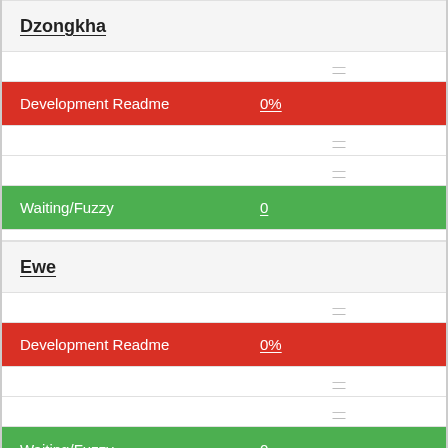Dzongkha
—
Development Readme 0%
—
—
Waiting/Fuzzy 0
Ewe
—
Development Readme 0%
—
—
Waiting/Fuzzy 0